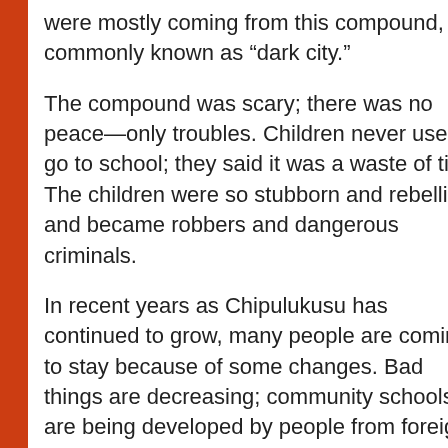were mostly coming from this compound, commonly known as “dark city.”
The compound was scary; there was no peace—only troubles. Children never used to go to school; they said it was a waste of time. The children were so stubborn and rebellious and became robbers and dangerous criminals.
In recent years as Chipulukusu has continued to grow, many people are coming to stay because of some changes. Bad things are decreasing; community schools are being developed by people from foreign countries. The council gives plots for new block
help grow spir disc thei pup equ for and mis eva con and and
[Figure (screenshot): Video thumbnail grid icons (gray play button boxes) on sidebar]
[Figure (screenshot): Load More button (dark background, white text)]
[Figure (screenshot): Subscribe button (blue background, white text with YouTube icon)]